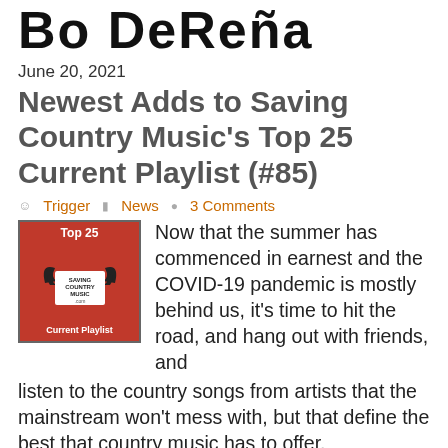Bo DeReña
June 20, 2021
Newest Adds to Saving Country Music's Top 25 Current Playlist (#85)
Trigger  News  3 Comments
[Figure (logo): Top 25 Saving Country Music Current Playlist logo on red background with eagle wings graphic]
Now that the summer has commenced in earnest and the COVID-19 pandemic is mostly behind us, it's time to hit the road, and hang out with friends, and listen to the country songs from artists that the mainstream won't mess with, but that define the best that country music has to offer.
Adam Lee, Bo DeReña, Brian Sutton, Chance